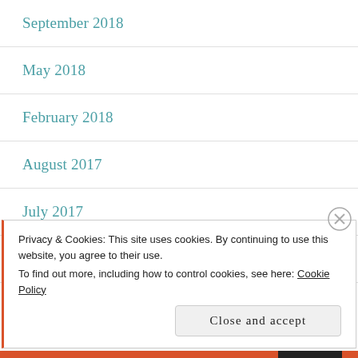September 2018
May 2018
February 2018
August 2017
July 2017
November 2016
October 2016
Privacy & Cookies: This site uses cookies. By continuing to use this website, you agree to their use. To find out more, including how to control cookies, see here: Cookie Policy
Close and accept